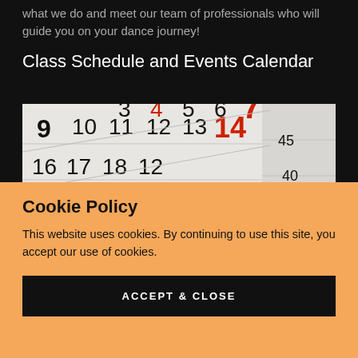what we do and meet our team of professionals who will guide you on your dance journey!
Class Schedule and Events Calendar
[Figure (photo): Close-up photo of a wall calendar showing dates including 3, 4, 5, 6, 7, 9, 10, 11, 12, 13, 14, 16, 17, 18, 24, 25 with some numbers in red (4, 7, 14) indicating weekends or special dates]
Cookie Policy
This website uses cookies. By continuing to use this site, you accept our use of cookies.
ACCEPT & CLOSE